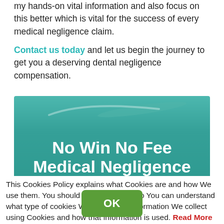my hands-on vital information and also focus on this better which is vital for the success of every medical negligence claim.
Contact us today and let us begin the journey to get you a deserving dental negligence compensation.
[Figure (illustration): Teal/green banner image with bold white text reading 'No Win No Fee Medical Negligence']
This Cookies Policy explains what Cookies are and how We use them. You should read this policy so You can understand what type of cookies We use, or the information We collect using Cookies and how that information is used. Read More